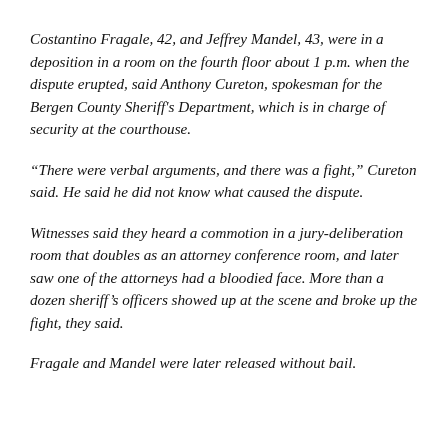Costantino Fragale, 42, and Jeffrey Mandel, 43, were in a deposition in a room on the fourth floor about 1 p.m. when the dispute erupted, said Anthony Cureton, spokesman for the Bergen County Sheriff's Department, which is in charge of security at the courthouse.
“There were verbal arguments, and there was a fight,” Cureton said. He said he did not know what caused the dispute.
Witnesses said they heard a commotion in a jury-deliberation room that doubles as an attorney conference room, and later saw one of the attorneys had a bloodied face. More than a dozen sheriff’s officers showed up at the scene and broke up the fight, they said.
Fragale and Mandel were later released without bail.